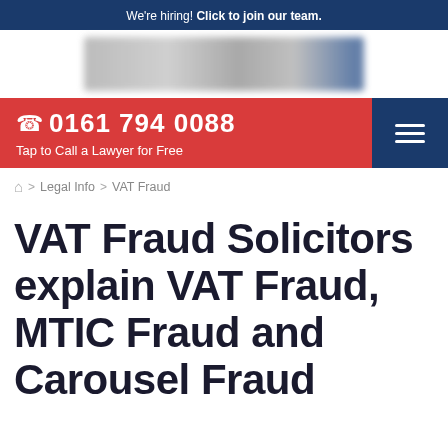We're hiring! Click to join our team.
[Figure (logo): Law firm logo with blurred/redacted text and blue icon on the right]
☎ 0161 794 0088
Tap to Call a Lawyer for Free
🏠 > Legal Info > VAT Fraud
VAT Fraud Solicitors explain VAT Fraud, MTIC Fraud and Carousel Fraud